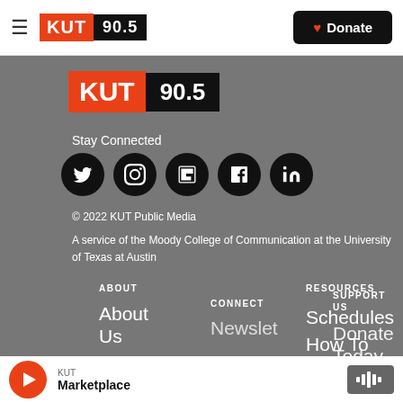[Figure (logo): KUT 90.5 radio station logo in navigation bar - red KUT box + black 90.5 box]
[Figure (logo): KUT 90.5 large logo in footer area - red KUT box + black 90.5 box]
Stay Connected
[Figure (infographic): Row of 5 social media icon circles (black): Twitter, Instagram, Flipboard, Facebook, LinkedIn]
© 2022 KUT Public Media
A service of the Moody College of Communication at the University of Texas at Austin
ABOUT
About Us
CONNECT
Newslet...
RESOURCES
Schedules
How To
SUPPORT US
Donate
Today
KUT
Marketplace